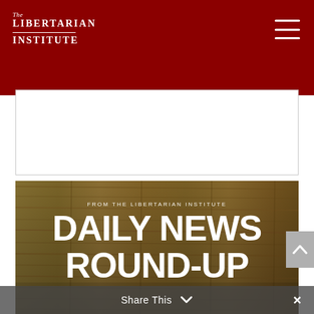The Libertarian Institute
[Figure (screenshot): White content area / advertisement placeholder box below the header]
[Figure (illustration): Daily News Round-Up banner image with wooden background texture. Text reads: FROM THE LIBERTARIAN INSTITUTE / DAILY NEWS / ROUND-UP]
Share This